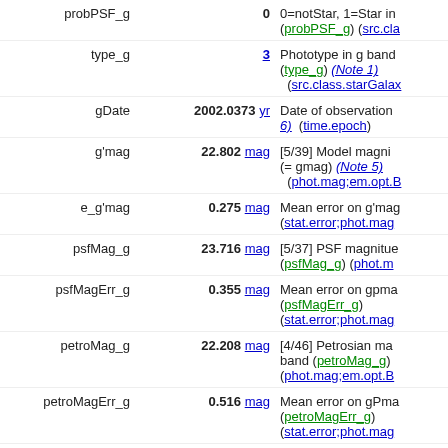| Field | Value | Description |
| --- | --- | --- |
| probPSF_g | 0 | 0=notStar, 1=Star in g band (probPSF_g) (src.cl...) |
| type_g | 3 | Phototype in g band (type_g) (Note 1) (src.class.starGalax...) |
| gDate | 2002.0373 yr | Date of observation (Note 6) (time.epoch) |
| g'mag | 22.802 mag | [5/39] Model magni... (= gmag) (Note 5) (phot.mag;em.opt.B...) |
| e_g'mag | 0.275 mag | Mean error on g'mag (stat.error;phot.mag...) |
| psfMag_g | 23.716 mag | [5/37] PSF magnitude (psfMag_g) (phot.m...) |
| psfMagErr_g | 0.355 mag | Mean error on gpma... (psfMagErr_g) (stat.error;phot.mag...) |
| petroMag_g | 22.208 mag | [4/46] Petrosian ma... band (petroMag_g) (phot.mag;em.opt.B...) |
| petroMagErr_g | 0.516 mag | Mean error on gPma... (petroMagErr_g) (stat.error;phot.mag...) |